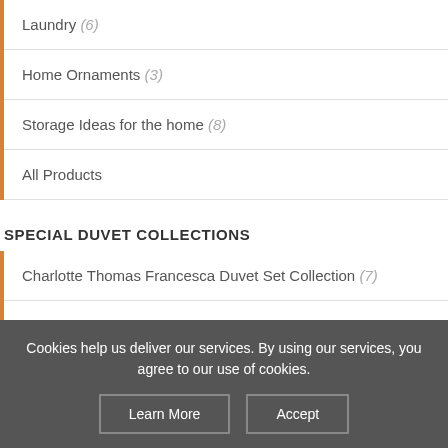Laundry (6)
Home Ornaments (3)
Storage Ideas for the home (8)
All Products
SPECIAL DUVET COLLECTIONS
Charlotte Thomas Francesca Duvet Set Collection (7)
Catherine Lansfield Signature Bedding Collection (9)
Catherine Lansfield Ornate Jacquard Duvet Set (1)
Catherine Lansfield Luxor Jacquard Bed Collection Silver Or Gold (4)
Cookies help us deliver our services. By using our services, you agree to our use of cookies.
Learn More | Accept